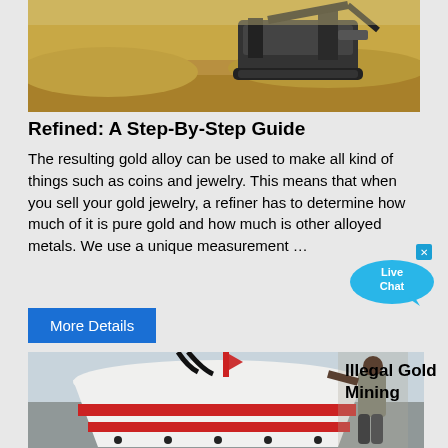[Figure (photo): Mining equipment / excavator machine on sandy ground with dirt mounds]
Refined: A Step-By-Step Guide
The resulting gold alloy can be used to make all kind of things such as coins and jewelry. This means that when you sell your gold jewelry, a refiner has to determine how much of it is pure gold and how much is other alloyed metals. We use a unique measurement …
More Details
[Figure (photo): Person working on large white and red industrial cone crusher machine, illegal gold mining]
Illegal Gold Mining